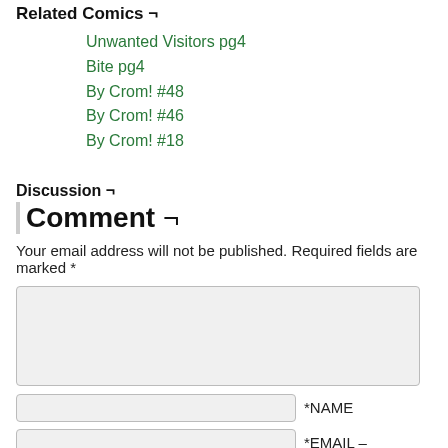Related Comics ¬
Unwanted Visitors pg4
Bite pg4
By Crom! #48
By Crom! #46
By Crom! #18
Discussion ¬
Comment ¬
Your email address will not be published. Required fields are marked *
*NAME
*EMAIL –
Website
Notify me of new posts by email.